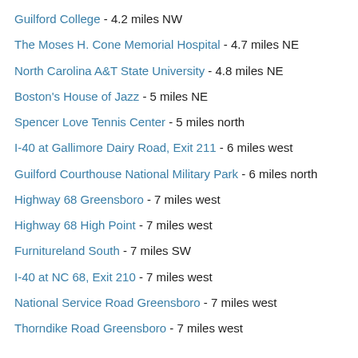Guilford College - 4.2 miles NW
The Moses H. Cone Memorial Hospital - 4.7 miles NE
North Carolina A&T State University - 4.8 miles NE
Boston's House of Jazz - 5 miles NE
Spencer Love Tennis Center - 5 miles north
I-40 at Gallimore Dairy Road, Exit 211 - 6 miles west
Guilford Courthouse National Military Park - 6 miles north
Highway 68 Greensboro - 7 miles west
Highway 68 High Point - 7 miles west
Furnitureland South - 7 miles SW
I-40 at NC 68, Exit 210 - 7 miles west
National Service Road Greensboro - 7 miles west
Thorndike Road Greensboro - 7 miles west